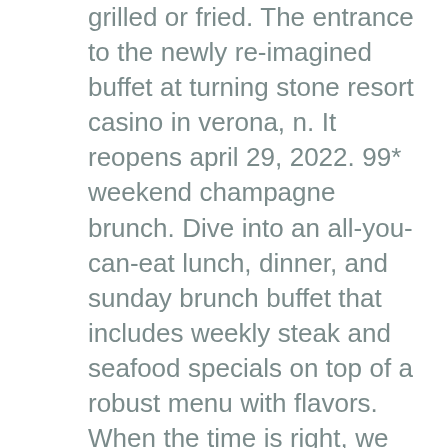grilled or fried. The entrance to the newly re-imagined buffet at turning stone resort casino in verona, n. It reopens april 29, 2022. 99* weekend champagne brunch. Dive into an all-you-can-eat lunch, dinner, and sunday brunch buffet that includes weekly steak and seafood specials on top of a robust menu with flavors. When the time is right, we look forward to re-opening the buffet. Due to the on-going pandemic legends buffet is not the traditional self serve all you can eat set up. Come enjoy a meal like no other! rivers edge buffet serves up every tantalizing treat imaginable – all your favorites alongside new tasty dishes. All of our existing buffet employees will be offered positions in our other casino restaurants, which will enable us to reopen and even expand. With unique stations to suite your taste, black hawk's